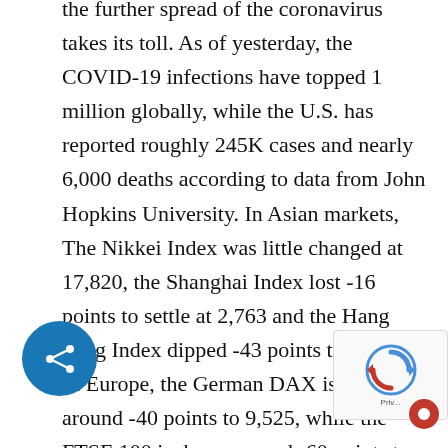the further spread of the coronavirus takes its toll. As of yesterday, the COVID-19 infections have topped 1 million globally, while the U.S. has reported roughly 245K cases and nearly 6,000 deaths according to data from John Hopkins University. In Asian markets, The Nikkei Index was little changed at 17,820, the Shanghai Index lost -16 points to settle at 2,763 and the Hang Seng Index dipped -43 points to 23,236. In Europe, the German DAX is down around -40 points to 9,525, while the FTSE 100 is down around -60 points to hold just above the 5,400 level. Europe showed dreadful PMI manufacturing readings as the IHS Markit eurozone services purchasing managers index in March slumped to a reading of 26.4 from 52.6 in January. Oil prices are adding to yesterday gains a rises over 8% and WTI crude 4% after surging nearly 25% yesterday on reports by President Trump that